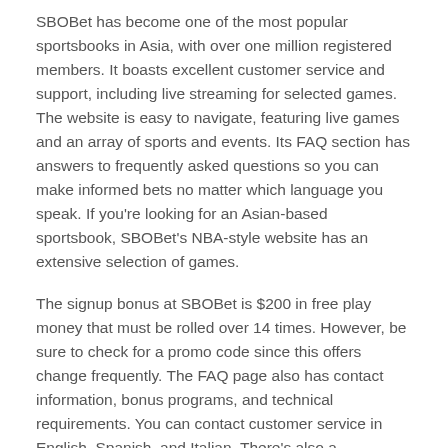SBOBet has become one of the most popular sportsbooks in Asia, with over one million registered members. It boasts excellent customer service and support, including live streaming for selected games. The website is easy to navigate, featuring live games and an array of sports and events. Its FAQ section has answers to frequently asked questions so you can make informed bets no matter which language you speak. If you're looking for an Asian-based sportsbook, SBOBet's NBA-style website has an extensive selection of games.
The signup bonus at SBOBet is $200 in free play money that must be rolled over 14 times. However, be sure to check for a promo code since this offers change frequently. The FAQ page also has contact information, bonus programs, and technical requirements. You can contact customer service in English, Spanish, and Italian. There's also a multilingual customer service team available to answer your questions. This sportsbook has many benefits.